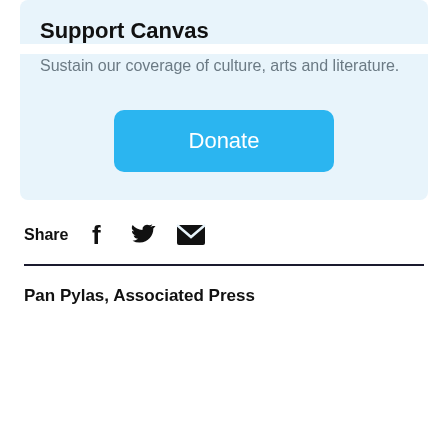Support Canvas
Sustain our coverage of culture, arts and literature.
Donate
Share
Pan Pylas, Associated Press